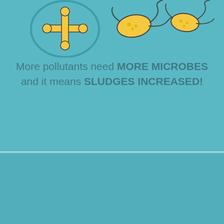[Figure (illustration): Cartoon illustrations of microbes/bacteria on a teal background — left side shows a circular blue-outlined icon with bones/skeleton, center and right show yellow-tinted bacteria with flagella]
More pollutants need MORE MICROBES and it means SLUDGES INCREASED!
ELBIO TREATMENT